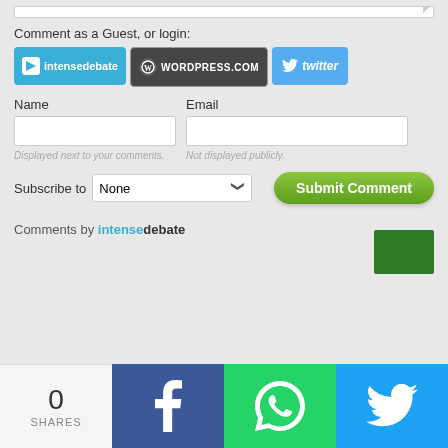Comment as a Guest, or login:
[Figure (screenshot): Login buttons: intensedebate, WordPress.com, twitter]
Name
Email
Displayed next to your comments.
Not displayed publicly.
Subscribe to None
[Figure (screenshot): Submit Comment green button]
Comments by intensedebate
0 SHARES
[Figure (screenshot): Share bar with Facebook, WhatsApp, Twitter icons]